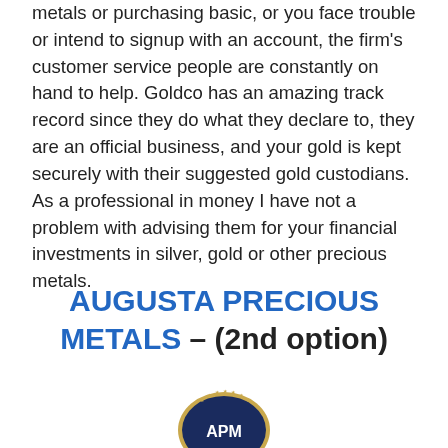metals or purchasing basic, or you face trouble or intend to signup with an account, the firm's customer service people are constantly on hand to help. Goldco has an amazing track record since they do what they declare to, they are an official business, and your gold is kept securely with their suggested gold custodians. As a professional in money I have not a problem with advising them for your financial investments in silver, gold or other precious metals.
AUGUSTA PRECIOUS METALS – (2nd option)
[Figure (logo): APM logo — dark navy oval badge with gold border, stars around the top arc, and 'APM' text in the center]